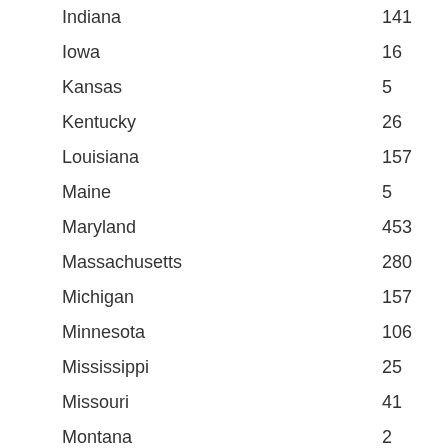| State | Value |
| --- | --- |
| Indiana | 141 |
| Iowa | 16 |
| Kansas | 5 |
| Kentucky | 26 |
| Louisiana | 157 |
| Maine | 5 |
| Maryland | 453 |
| Massachusetts | 280 |
| Michigan | 157 |
| Minnesota | 106 |
| Mississippi | 25 |
| Missouri | 41 |
| Montana | 2 |
| Nebraska | 23 |
| Nevada | 126 |